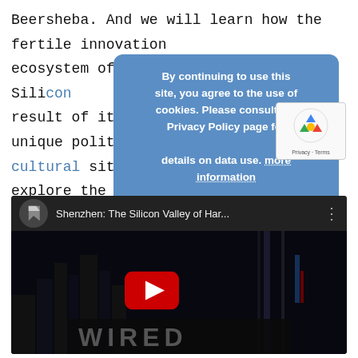Beersheba. And we will learn how the fertile innovation ecosystem of Silicon [overlaid] as a result of its unique political, geographical and cultural situation and explore the future challenges – and solutions – these nations are facing.
[Figure (screenshot): Cookie consent overlay modal on a blue background with text: 'By continuing to use this site, you agree to the use of cookies. Please consult the Privacy Policy page for details on data use. more information' and an ACCEPT button.]
[Figure (screenshot): YouTube video embed showing 'Shenzhen: The Silicon Valley of Har...' with WIRED channel logo, dark background with city skyline/building imagery, YouTube play button in red, and WIRED text logo at the bottom. reCAPTCHA badge in lower right.]